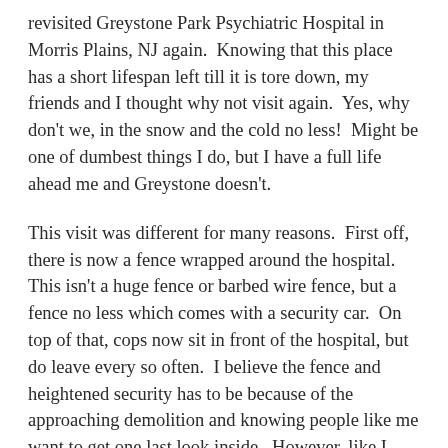revisited Greystone Park Psychiatric Hospital in Morris Plains, NJ again.  Knowing that this place has a short lifespan left till it is tore down, my friends and I thought why not visit again.  Yes, why don't we, in the snow and the cold no less!  Might be one of dumbest things I do, but I have a full life ahead me and Greystone doesn't.
This visit was different for many reasons.  First off, there is now a fence wrapped around the hospital.  This isn't a huge fence or barbed wire fence, but a fence no less which comes with a security car.  On top of that, cops now sit in front of the hospital, but do leave every so often.  I believe the fence and heightened security has to be because of the approaching demolition and knowing people like me want to get one last look inside.  However, like I said, it is just a fence and my entrance is still there.  If you plan it right, you can sneak in, but I stress, if you get caught it isn't fines